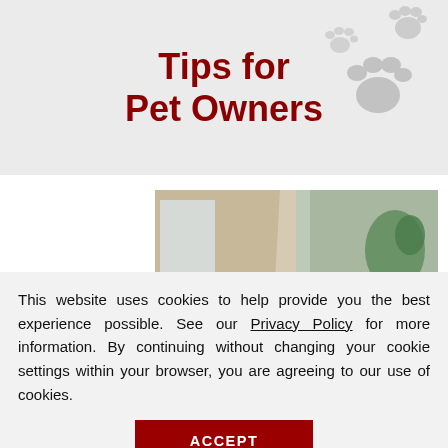Tips for Pet Owners
[Figure (photo): Split image showing a woman on a phone call smiling, and a man on a phone call looking at a tablet, with a 'Request a Free' badge overlay in the bottom right]
This website uses cookies to help provide you the best experience possible. See our Privacy Policy for more information. By continuing without changing your cookie settings within your browser, you are agreeing to our use of cookies.
ACCEPT